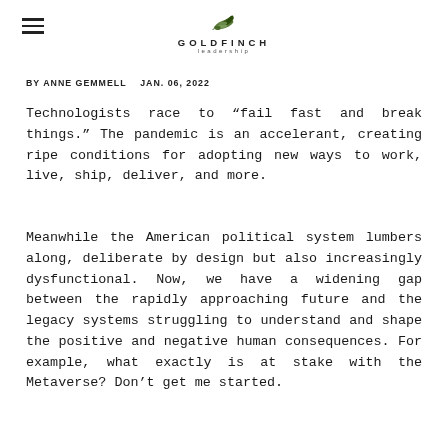GOLDFINCH leadership
BY ANNE GEMMELL   JAN. 06, 2022
Technologists race to “fail fast and break things.” The pandemic is an accelerant, creating ripe conditions for adopting new ways to work, live, ship, deliver, and more.
Meanwhile the American political system lumbers along, deliberate by design but also increasingly dysfunctional. Now, we have a widening gap between the rapidly approaching future and the legacy systems struggling to understand and shape the positive and negative human consequences. For example, what exactly is at stake with the Metaverse? Don’t get me started.